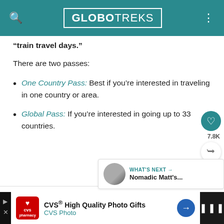GLOBOTREKS
“train travel days.”
There are two passes:
One Country Pass: Best if you’re interested in traveling in one country or area.
Global Pass: If you’re interested in going up to 33 countries.